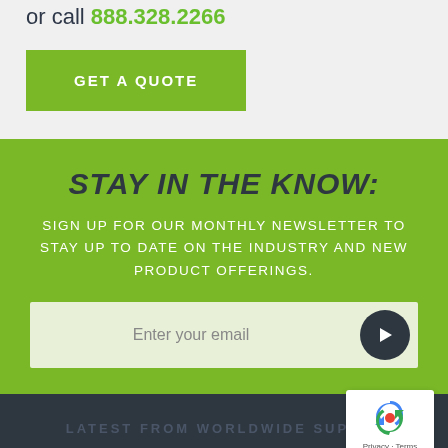or call 888.328.2266
GET A QUOTE
STAY IN THE KNOW:
SIGN UP FOR OUR MONTHLY NEWSLETTER TO STAY UP TO DATE ON THE INDUSTRY AND NEW PRODUCT OFFERINGS.
Enter your email
LATEST FROM WORLDWIDE SUPPLY